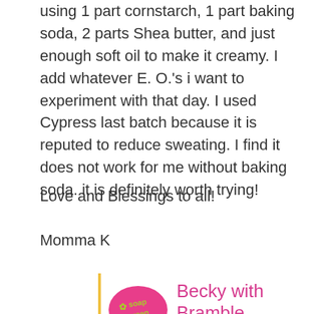using 1 part cornstarch, 1 part baking soda, 2 parts Shea butter, and just enough soft oil to make it creamy. I add whatever E. O.'s i want to experiment with that day. I used Cypress last batch because it is reputed to reduce sweating. I find it does not work for me without baking soda. it is definitely worth trying!
Love and Blessings to all!
Momma K
[Figure (logo): Soap Queen logo — pink oval with green text reading 'soap queen']
Becky with Bramble Berry says
May 2, 2012 at 10:44 am